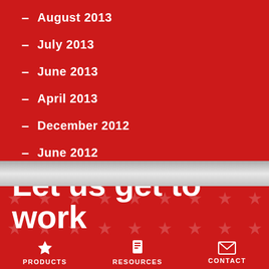– August 2013
– July 2013
– June 2013
– April 2013
– December 2012
– June 2012
Let us get to work
PRODUCTS   RESOURCES   CONTACT